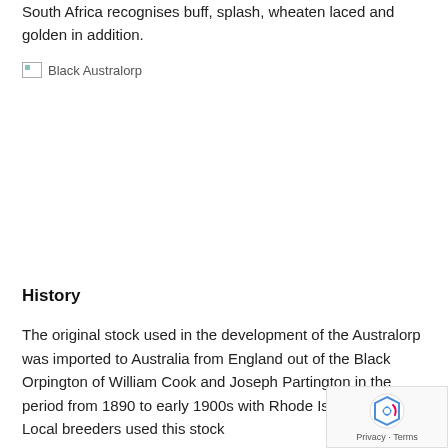South Africa recognises buff, splash, wheaten laced and golden in addition.
[Figure (photo): Black Australorp image placeholder (broken image link)]
History
The original stock used in the development of the Australorp was imported to Australia from England out of the Black Orpington of William Cook and Joseph Partington in the period from 1890 to early 1900s with Rhode Island Red. Local breeders used this stock